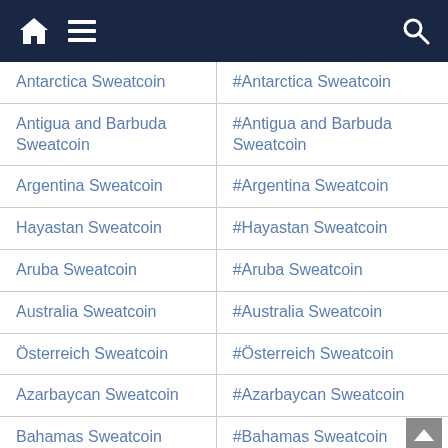Navigation bar with home, menu, and search icons
| Antarctica Sweatcoin | #Antarctica Sweatcoin |
| Antigua and Barbuda Sweatcoin | #Antigua and Barbuda Sweatcoin |
| Argentina Sweatcoin | #Argentina Sweatcoin |
| Hayastan Sweatcoin | #Hayastan Sweatcoin |
| Aruba Sweatcoin | #Aruba Sweatcoin |
| Australia Sweatcoin | #Australia Sweatcoin |
| Österreich Sweatcoin | #Österreich Sweatcoin |
| Azarbaycan Sweatcoin | #Azarbaycan Sweatcoin |
| Bahamas Sweatcoin | #Bahamas Sweatcoin |
| Al Bahrayn Sweatcoin | #Al Bahrayn Sweatcoin |